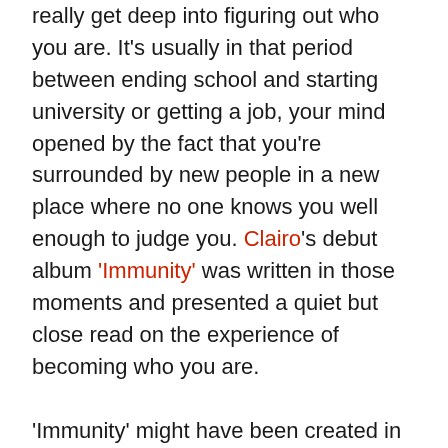really get deep into figuring out who you are. It's usually in that period between ending school and starting university or getting a job, your mind opened by the fact that you're surrounded by new people in a new place where no one knows you well enough to judge you. Clairo's debut album 'Immunity' was written in those moments and presented a quiet but close read on the experience of becoming who you are.

'Immunity' might have been created in the last years of Cottrill's life as a teenager, but its songs were soothing balms for any periods of life characterised by transition or upheaval. In her intimate, personal lyrics, she gave empathetic reassurance to those